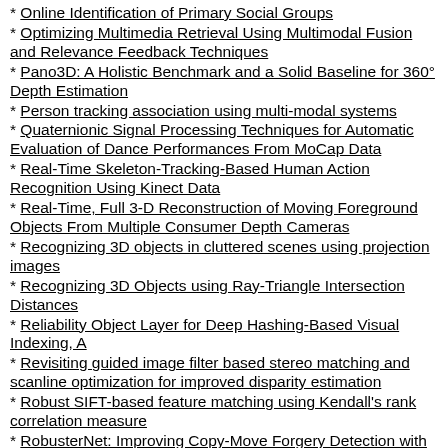Online Identification of Primary Social Groups
Optimizing Multimedia Retrieval Using Multimodal Fusion and Relevance Feedback Techniques
Pano3D: A Holistic Benchmark and a Solid Baseline for 360° Depth Estimation
Person tracking association using multi-modal systems
Quaternionic Signal Processing Techniques for Automatic Evaluation of Dance Performances From MoCap Data
Real-Time Skeleton-Tracking-Based Human Action Recognition Using Kinect Data
Real-Time, Full 3-D Reconstruction of Moving Foreground Objects From Multiple Consumer Depth Cameras
Recognizing 3D objects in cluttered scenes using projection images
Recognizing 3D Objects using Ray-Triangle Intersection Distances
Reliability Object Layer for Deep Hashing-Based Visual Indexing, A
Revisiting guided image filter based stereo matching and scanline optimization for improved disparity estimation
Robust SIFT-based feature matching using Kendall's rank correlation measure
RobusterNet: Improving Copy-Move Forgery Detection with Volterra-based Convolutions
Search and Retrieval of Rich Media Objects Supporting